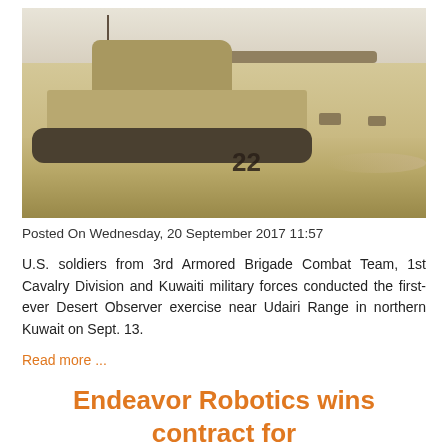[Figure (photo): M1 Abrams battle tank numbered '22' moving across a desert landscape in Kuwait, with distant tanks visible on the horizon.]
Posted On Wednesday, 20 September 2017 11:57
U.S. soldiers from 3rd Armored Brigade Combat Team, 1st Cavalry Division and Kuwaiti military forces conducted the first-ever Desert Observer exercise near Udairi Range in northern Kuwait on Sept. 13.
Read more ...
Endeavor Robotics wins contract for 75 Firstlook robot with the US